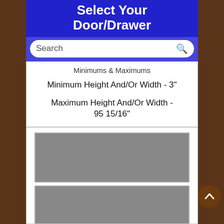Select Your Door/Drawer
Search
Minimums & Maximums
Minimum Height And/Or Width - 3"
Maximum Height And/Or Width - 95 15/16"
[Figure (photo): Two gray rectangular door/drawer tile options displayed in a product selection interface]
[Figure (illustration): Brown circular back-to-top button with upward chevron arrow icon]